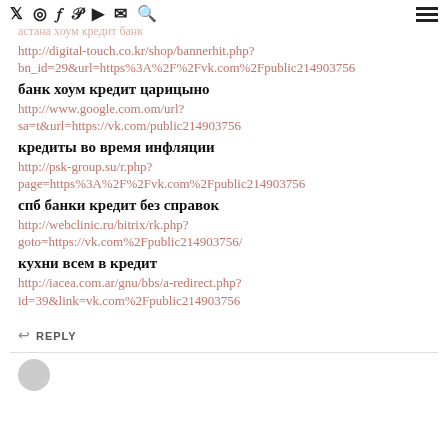астана хоум кредит банк
http://digital-touch.co.kr/shop/bannerhit.php?bn_id=29&url=https%3A%2F%2Fvk.com%2Fpublic214903756
банк хоум кредит царицыно
http://www.google.com.om/url?sa=t&url=https://vk.com/public214903756
кредиты во время инфляции
http://psk-group.su/r.php?page=https%3A%2F%2Fvk.com%2Fpublic214903756
спб банки кредит без справок
http://webclinic.ru/bitrix/rk.php?goto=https://vk.com%2Fpublic214903756/
кухни всем в кредит
http://iacea.com.ar/gnu/bbs/a-redirect.php?id=39&link=vk.com%2Fpublic214903756
REPLY